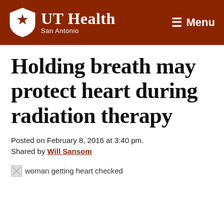UT Health San Antonio — Menu
Holding breath may protect heart during radiation therapy
Posted on February 8, 2016 at 3:40 pm. Shared by Will Sansom
[Figure (photo): woman getting heart checked (broken image placeholder)]